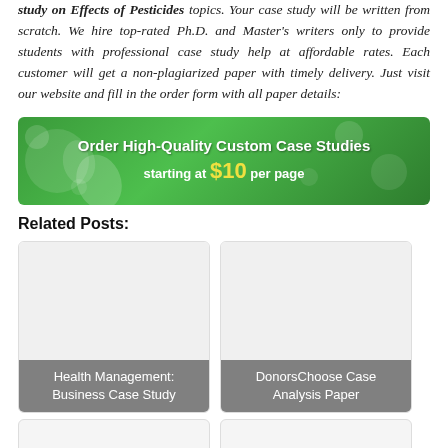study on Effects of Pesticides topics. Your case study will be written from scratch. We hire top-rated Ph.D. and Master's writers only to provide students with professional case study help at affordable rates. Each customer will get a non-plagiarized paper with timely delivery. Just visit our website and fill in the order form with all paper details:
[Figure (infographic): Green banner advertisement: 'Order High-Quality Custom Case Studies starting at $10 per page' with decorative bubbles and leaf imagery]
Related Posts:
[Figure (photo): Card with image placeholder and label: Health Management: Business Case Study]
[Figure (photo): Card with image placeholder and label: DonorsChoose Case Analysis Paper]